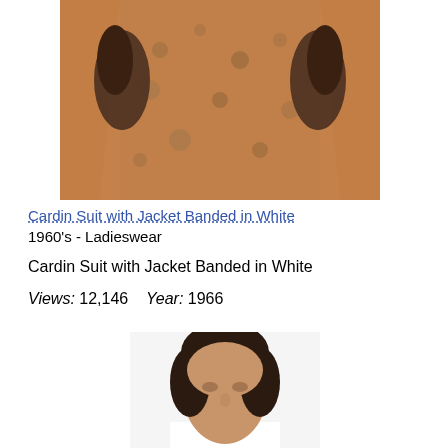[Figure (photo): Close-up photo of an orange-brown tweed coat/suit body with dark brown leather gloves visible on either side at the top]
Cardin Suit with Jacket Banded in White
1960's - Ladieswear
Cardin Suit with Jacket Banded in White
Views: 12,146    Year: 1966
[Figure (photo): Partial photo of a person's head and shoulders, showing dark hair, face, and white clothing/collar at the bottom, cropped at the top of the page view]